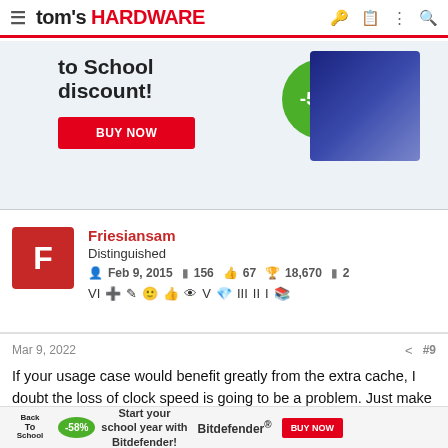tom's HARDWARE
[Figure (infographic): Advertisement banner with 'to school discount!' text, -58% green circle, product image, and BUY NOW button]
Friesiansam
Distinguished
Feb 9, 2015  156  67  18,670  2
Mar 9, 2022  #9
If your usage case would benefit greatly from the extra cache, I doubt the loss of clock speed is going to be a problem. Just make sure you cool it well enough, to ensure it runs as fast as possible.
[Figure (infographic): Bottom advertisement: Back to School -58% discount Bitdefender BUY NOW]